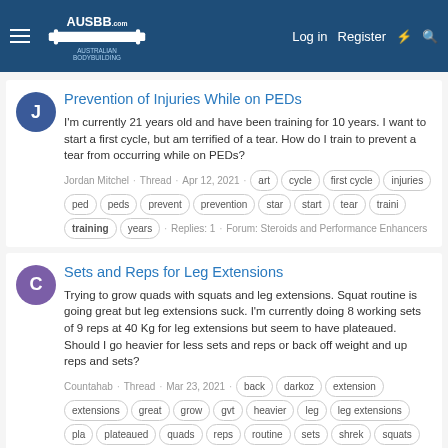AUSBB.com Australian Bodybuilding — Log in | Register
Prevention of Injuries While on PEDs
I'm currently 21 years old and have been training for 10 years. I want to start a first cycle, but am terrified of a tear. How do I train to prevent a tear from occurring while on PEDs?
Jordan Mitchel · Thread · Apr 12, 2021 · art · cycle · first cycle · injuries · ped · peds · prevent · prevention · star · start · tear · traini · training · years · Replies: 1 · Forum: Steroids and Performance Enhancers
Sets and Reps for Leg Extensions
Trying to grow quads with squats and leg extensions. Squat routine is going great but leg extensions suck. I'm currently doing 8 working sets of 9 reps at 40 Kg for leg extensions but seem to have plateaued. Should I go heavier for less sets and reps or back off weight and up reps and sets?
Countahab · Thread · Mar 23, 2021 · back · darkoz · extension · extensions · great · grow · gvt · heavier · leg · leg extensions · pla · plateaued · quads · reps · routine · sets · shrek · squats